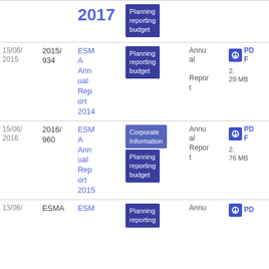| Date | Reference | Title | Tags | Type | Download |
| --- | --- | --- | --- | --- | --- |
|  |  | 2017 | Planning reporting budget |  |  |
| 15/06/2015 | 2015/934 | ESMA Annual Report 2014 | Planning reporting budget | Annual Report | PDF 2.29 MB |
| 15/06/2016 | 2016/960 | ESMA Annual Report 2015 | Corporate Information; Planning reporting budget | Annual Report | PDF 2.76 MB |
| 13/06/ | ESMA | ESM | Planning reporting | Annu | PD |